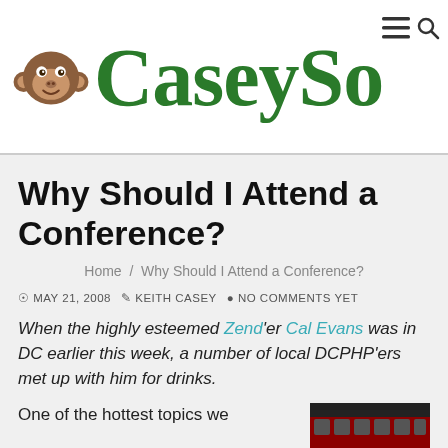[Figure (logo): CaseySo... website logo with monkey icon and green site name text, plus hamburger menu and search icons]
Why Should I Attend a Conference?
Home / Why Should I Attend a Conference?
MAY 21, 2008  KEITH CASEY  NO COMMENTS YET
When the highly esteemed Zend'er Cal Evans was in DC earlier this week, a number of local DCPHP'ers met up with him for drinks.
One of the hottest topics we